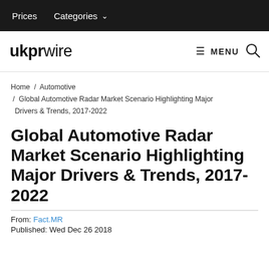Prices   Categories ∨
ukprwire  ≡ MENU  🔍
Home / Automotive / Global Automotive Radar Market Scenario Highlighting Major Drivers & Trends, 2017-2022
Global Automotive Radar Market Scenario Highlighting Major Drivers & Trends, 2017-2022
From: Fact.MR
Published: Wed Dec 26 2018